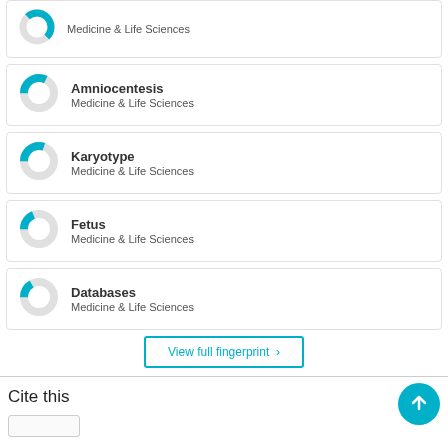[Figure (donut-chart): Partial donut chart for Medicine & Life Sciences (top, clipped)]
[Figure (donut-chart): Donut chart for Amniocentesis, Medicine & Life Sciences]
Amniocentesis
Medicine & Life Sciences
[Figure (donut-chart): Donut chart for Karyotype, Medicine & Life Sciences]
Karyotype
Medicine & Life Sciences
[Figure (donut-chart): Donut chart for Fetus, Medicine & Life Sciences]
Fetus
Medicine & Life Sciences
[Figure (donut-chart): Donut chart for Databases, Medicine & Life Sciences]
Databases
Medicine & Life Sciences
View full fingerprint  ›
Cite this